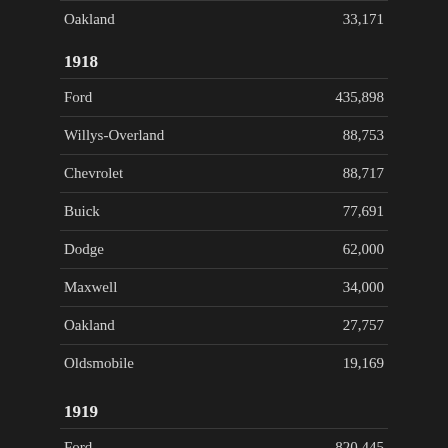| Brand | Units |
| --- | --- |
| Oakland | 33,171 |
1918
| Brand | Units |
| --- | --- |
| Ford | 435,898 |
| Willys-Overland | 88,753 |
| Chevrolet | 88,717 |
| Buick | 77,691 |
| Dodge | 62,000 |
| Maxwell | 34,000 |
| Oakland | 27,757 |
| Oldsmobile | 19,169 |
1919
| Brand | Units |
| --- | --- |
| Ford | 820,445 |